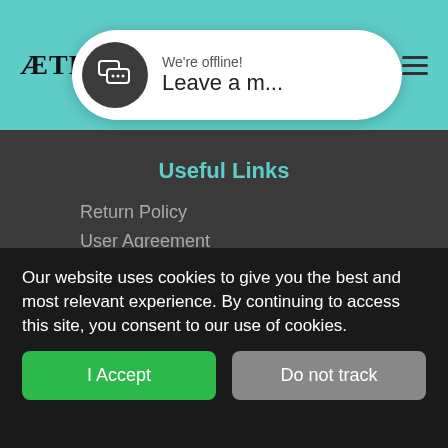ÆTHEION
[Figure (screenshot): Chat widget bubble showing 'We're offline! Leave a m...' with dark circular icon containing speech bubble icons]
Useful Links
Return Policy
User Agreement
How to Purchase
Ingredients Glossary
Frequently Asked Questions
Our website uses cookies to give you the best and most relevant experience. By continuing to access this site, you consent to our use of cookies.
store is property of ChemCream S.A.P.I. de C.V.